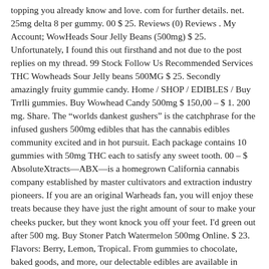topping you already know and love. com for further details. net. 25mg delta 8 per gummy. 00 $ 25. Reviews (0) Reviews . My Account; WowHeads Sour Jelly Beans (500mg) $ 25. Unfortunately, I found this out firsthand and not due to the post replies on my thread. 99 Stock Follow Us Recommended Services THC Wowheads Sour Jelly beans 500MG $ 25. Secondly amazingly fruity gummie candy. Home / SHOP / EDIBLES / Buy Trrlli gummies. Buy Wowhead Candy 500mg $ 150,00 – $ 1. 200 mg. Share. The “worlds dankest gushers” is the catchphrase for the infused gushers 500mg edibles that has the cannabis edibles community excited and in hot pursuit. Each package contains 10 gummies with 50mg THC each to satisfy any sweet tooth. 00 – $ AbsoluteXtracts—ABX—is a homegrown California cannabis company established by master cultivators and extraction industry pioneers. If you are an original Warheads fan, you will enjoy these treats because they have just the right amount of sour to make your cheeks pucker, but they wont knock you off your feet. I'd green out after 500 mg. Buy Stoner Patch Watermelon 500mg Online. $ 23. Flavors: Berry, Lemon, Tropical. From gummies to chocolate, baked goods, and more, our delectable edibles are available in different levels of tolerance and ranges of . Buy the best feminized Edibles from the best online seed bank, mega marijuana store Search Call today: (+1) 8023491779 Working Hours: Due to the COVID-19 National Emergency, our response and hold times may be longer than normal at our service center. At the dispensary I